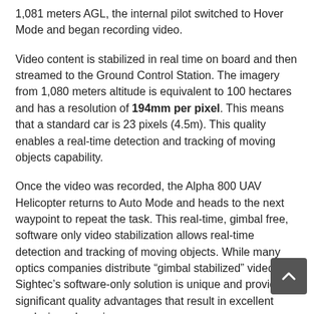1,081 meters AGL, the internal pilot switched to Hover Mode and began recording video.
Video content is stabilized in real time on board and then streamed to the Ground Control Station. The imagery from 1,080 meters altitude is equivalent to 100 hectares and has a resolution of 194mm per pixel. This means that a standard car is 23 pixels (4.5m). This quality enables a real-time detection and tracking of moving objects capability.
Once the video was recorded, the Alpha 800 UAV Helicopter returns to Auto Mode and heads to the next waypoint to repeat the task. This real-time, gimbal free, software only video stabilization allows real-time detection and tracking of moving objects. While many optics companies distribute “gimbal stabilized” video, Sightec’s software-only solution is unique and provides significant quality advantages that result in excellent analysis and precise response.